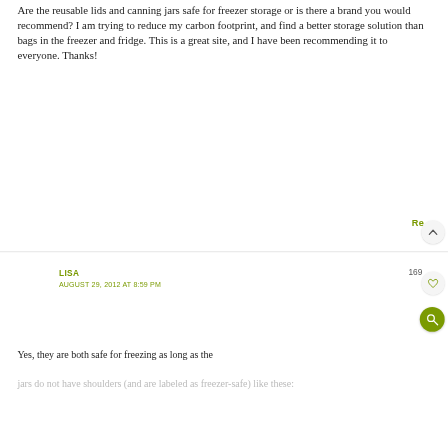Are the reusable lids and canning jars safe for freezer storage or is there a brand you would recommend? I am trying to reduce my carbon footprint, and find a better storage solution than bags in the freezer and fridge. This is a great site, and I have been recommending it to everyone. Thanks!
Re
169
LISA
AUGUST 29, 2012 AT 8:59 PM
Yes, they are both safe for freezing as long as the
jars do not have shoulders (and are labeled as freezer-safe) like these: